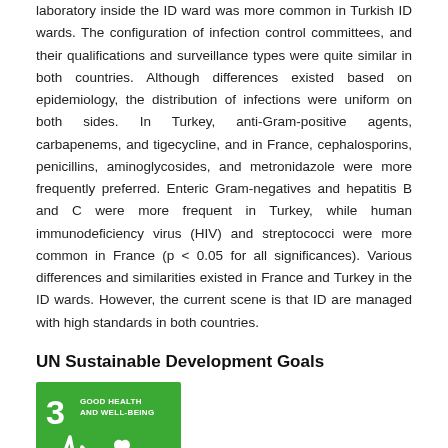laboratory inside the ID ward was more common in Turkish ID wards. The configuration of infection control committees, and their qualifications and surveillance types were quite similar in both countries. Although differences existed based on epidemiology, the distribution of infections were uniform on both sides. In Turkey, anti-Gram-positive agents, carbapenems, and tigecycline, and in France, cephalosporins, penicillins, aminoglycosides, and metronidazole were more frequently preferred. Enteric Gram-negatives and hepatitis B and C were more frequent in Turkey, while human immunodeficiency virus (HIV) and streptococci were more common in France (p < 0.05 for all significances). Various differences and similarities existed in France and Turkey in the ID wards. However, the current scene is that ID are managed with high standards in both countries.
UN Sustainable Development Goals
[Figure (logo): UN SDG Goal 3: Good Health and Well-Being icon — green square with number 3, text 'GOOD HEALTH AND WELL-BEING', and a white heartbeat/health waveform with heart icon]